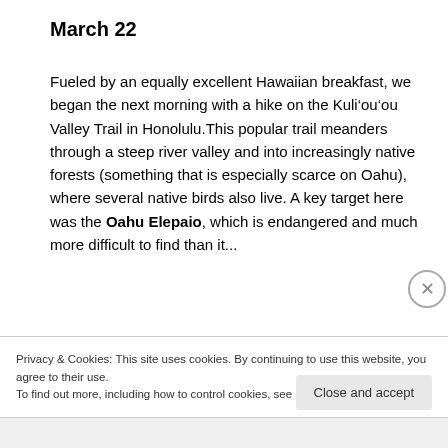March 22
Fueled by an equally excellent Hawaiian breakfast, we began the next morning with a hike on the Kuli‘ou‘ou Valley Trail in Honolulu.This popular trail meanders through a steep river valley and into increasingly native forests (something that is especially scarce on Oahu), where several native birds also live. A key target here was the Oahu Elepaio, which is endangered and much more difficult to find than it...
Privacy & Cookies: This site uses cookies. By continuing to use this website, you agree to their use.
To find out more, including how to control cookies, see here: Cookie Policy